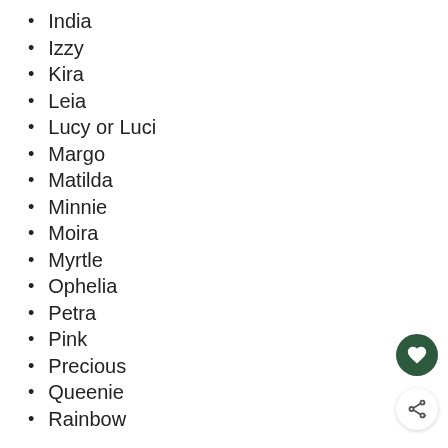India
Izzy
Kira
Leia
Lucy or Luci
Margo
Matilda
Minnie
Moira
Myrtle
Ophelia
Petra
Pink
Precious
Queenie
Rainbow